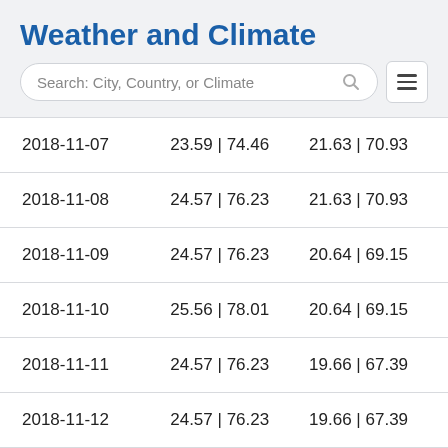Weather and Climate
| Date | Col2 | Col3 |
| --- | --- | --- |
| 2018-11-07 | 23.59 | 74.46 | 21.63 | 70.93 |
| 2018-11-08 | 24.57 | 76.23 | 21.63 | 70.93 |
| 2018-11-09 | 24.57 | 76.23 | 20.64 | 69.15 |
| 2018-11-10 | 25.56 | 78.01 | 20.64 | 69.15 |
| 2018-11-11 | 24.57 | 76.23 | 19.66 | 67.39 |
| 2018-11-12 | 24.57 | 76.23 | 19.66 | 67.39 |
| 2018-11-13 | 25.56 | 78.01 | 18.68 | 65.62 |